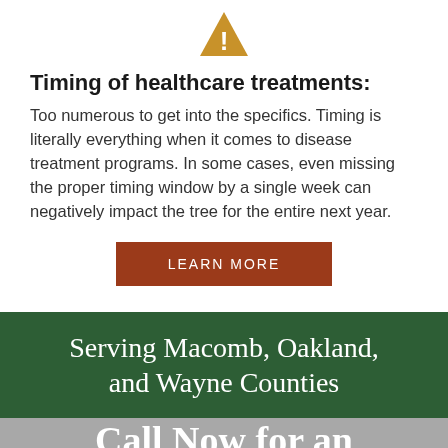[Figure (illustration): Warning triangle icon with exclamation mark in golden/amber color]
Timing of healthcare treatments:
Too numerous to get into the specifics. Timing is literally everything when it comes to disease treatment programs. In some cases, even missing the proper timing window by a single week can negatively impact the tree for the entire next year.
LEARN MORE
Serving Macomb, Oakland, and Wayne Counties
Call Now for an